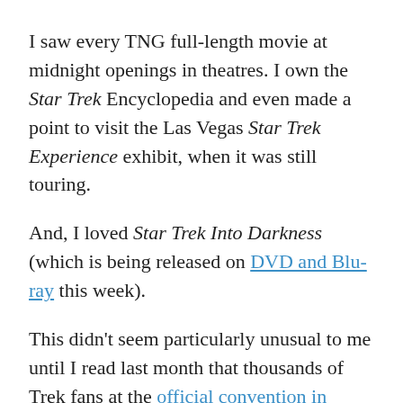I saw every TNG full-length movie at midnight openings in theatres. I own the Star Trek Encyclopedia and even made a point to visit the Las Vegas Star Trek Experience exhibit, when it was still touring.
And, I loved Star Trek Into Darkness (which is being released on DVD and Blu-ray this week).
This didn't seem particularly unusual to me until I read last month that thousands of Trek fans at the official convention in Vegas had voted Into Darkness the single worst Star Trek film in canon history. They voted it worst behind Star Trek III: The Search for Spock. Behind Star Trek: Generations! Behind Star Trek: Insurrection! Behind Star Trek V: I Found God at the Edge of the Freakin' Universe!!!
The Guardian rationalizes the Into Darkness hatred among